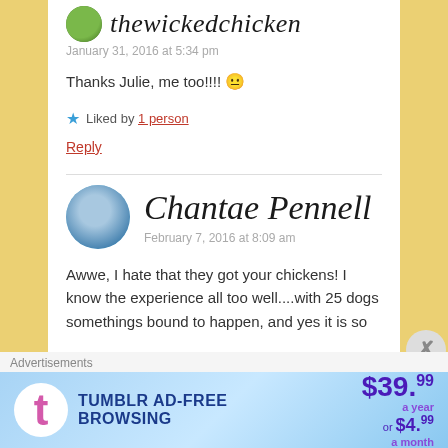thewickedchicken
January 31, 2016 at 5:34 pm
Thanks Julie, me too!!!! 😐
★ Liked by 1 person
Reply
Chantae Pennell
February 7, 2016 at 8:09 am
Awwe, I hate that they got your chickens! I know the experience all too well....with 25 dogs somethings bound to happen, and yes it is so
Advertisements
[Figure (infographic): Tumblr ad-free browsing advertisement banner showing $39.99 a year or $4.99 a month]